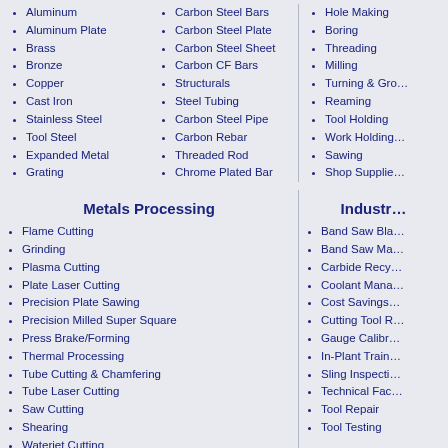Aluminum
Aluminum Plate
Brass
Bronze
Copper
Cast Iron
Stainless Steel
Tool Steel
Expanded Metal
Grating
Carbon Steel Bars
Carbon Steel Plate
Carbon Steel Sheet
Carbon CF Bars
Structurals
Steel Tubing
Carbon Steel Pipe
Carbon Rebar
Threaded Rod
Chrome Plated Bar
Hole Making
Boring
Threading
Milling
Turning & Gro…
Reaming
Tool Holding
Work Holding…
Sawing
Shop Supplie…
Metals Processing
Industr…
Flame Cutting
Grinding
Plasma Cutting
Plate Laser Cutting
Precision Plate Sawing
Precision Milled Super Square
Press Brake/Forming
Thermal Processing
Tube Cutting & Chamfering
Tube Laser Cutting
Saw Cutting
Shearing
Waterjet Cutting
Band Saw Bla…
Band Saw Ma…
Carbide Recy…
Coolant Mana…
Cost Savings…
Cutting Tool R…
Gauge Calibr…
In-Plant Train…
Sling Inspecti…
Technical Fac…
Tool Repair
Tool Testing